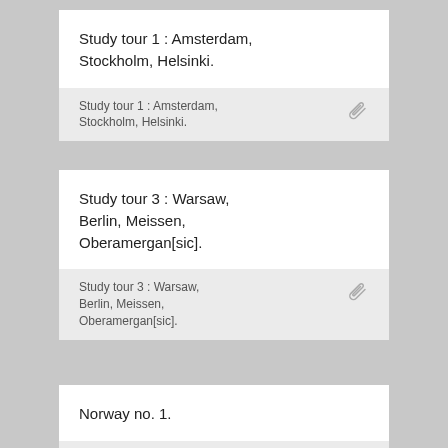Study tour 1 : Amsterdam, Stockholm, Helsinki.
Study tour 1 : Amsterdam, Stockholm, Helsinki.
Study tour 3 : Warsaw, Berlin, Meissen, Oberamergan[sic].
Study tour 3 : Warsaw, Berlin, Meissen, Oberamergan[sic].
Norway no. 1.
Norway no. 1.